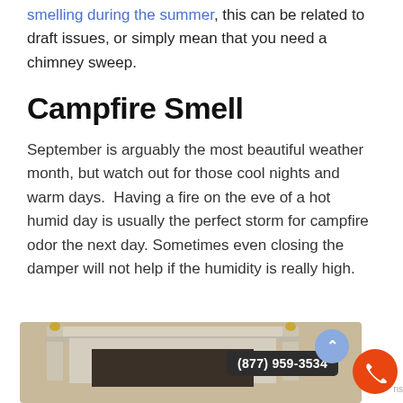smelling during the summer, this can be related to draft issues, or simply mean that you need a chimney sweep.
Campfire Smell
September is arguably the most beautiful weather month, but watch out for those cool nights and warm days.  Having a fire on the eve of a hot humid day is usually the perfect storm for campfire odor the next day. Sometimes even closing the damper will not help if the humidity is really high.
[Figure (photo): Photograph of a white marble fireplace mantel with golden accents, showing the firebox opening below.]